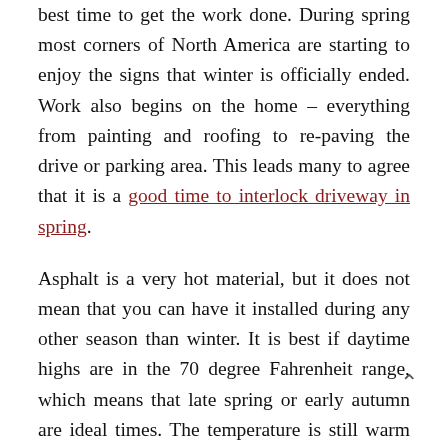best time to get the work done. During spring most corners of North America are starting to enjoy the signs that winter is officially ended. Work also begins on the home – everything from painting and roofing to re-paving the drive or parking area. This leads many to agree that it is a good time to interlock driveway in spring.
Asphalt is a very hot material, but it does not mean that you can have it installed during any other season than winter. It is best if daytime highs are in the 70 degree Fahrenheit range, which means that late spring or early autumn are ideal times. The temperature is still warm enough to allow any cleaners and sealers you use to dry faster.
Like other exterior fixtures for your home, interlocking